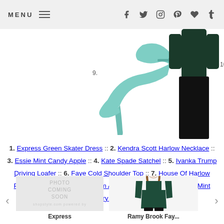MENU | social icons: f, twitter, instagram, pinterest, heart, tumblr
[Figure (photo): Mint green high-heel ankle-strap stiletto pump, labeled 9.]
[Figure (photo): Olive green crossbody bag with gold chain strap and gold logo, labeled 10.]
[Figure (photo): Woman wearing dark green cold-shoulder top with black pants, partially visible on right.]
1. Express Green Skater Dress :: 2. Kendra Scott Harlow Necklace :: 3. Essie Mint Candy Apple :: 4. Kate Spade Satchel :: 5. Ivanka Trump Driving Loafer :: 6. Faye Cold Shoulder Top :: 7. House Of Harlow Pendant :: 8. Victoria Beckham Aviators :: 9. Charlotte Russe Mint Heels :: 10. Tory Burch Cross Body
[Figure (photo): Placeholder image reading PHOTO COMING SOON. Caption: Express]
[Figure (photo): Model wearing dark green cold-shoulder top with long sleeves. Caption: Ramy Brook Fay...]